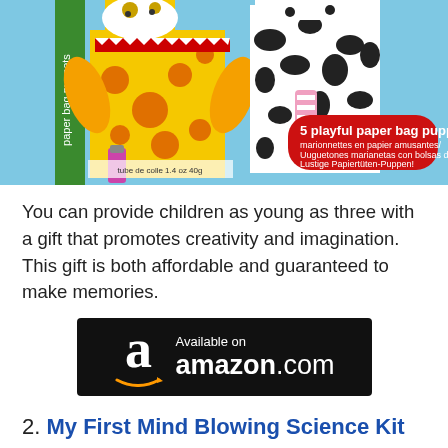[Figure (photo): Product photo of a paper bag puppet craft kit box showing colorful animal puppets including a giraffe and a dalmatian dog. The box indicates 5 playful paper bag puppets and includes a glue tube (1.4 oz / 40g). Background is light blue.]
You can provide children as young as three with a gift that promotes creativity and imagination. This gift is both affordable and guaranteed to make memories.
[Figure (logo): Amazon.com 'Available on amazon.com' banner with black background, Amazon 'a' logo with smile arrow, and white text reading 'Available on' and 'amazon.com']
2. My First Mind Blowing Science Kit